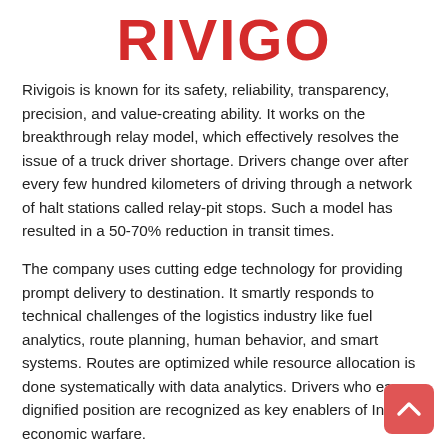[Figure (logo): RIVIGO logo in bold red capital letters]
Rivigois is known for its safety, reliability, transparency, precision, and value-creating ability. It works on the breakthrough relay model, which effectively resolves the issue of a truck driver shortage. Drivers change over after every few hundred kilometers of driving through a network of halt stations called relay-pit stops. Such a model has resulted in a 50-70% reduction in transit times.
The company uses cutting edge technology for providing prompt delivery to destination. It smartly responds to technical challenges of the logistics industry like fuel analytics, route planning, human behavior, and smart systems. Routes are optimized while resource allocation is done systematically with data analytics. Drivers who earn a dignified position are recognized as key enablers of India's economic warfare.
About 10,000 Truck pilots are hired by Rivigo. Every truck pilot gets to